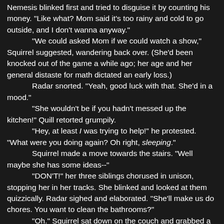Nemesis blinked first and tried to disguise it by counting his money. "Like what? Mom said it's too rainy and cold to go outside, and I don't wanna anyway." "We could asked Mom if we could watch a show," Squirrel suggested, wandering back over. (She'd been knocked out of the game a while ago; her age and her general distaste for math dictated an early loss.) Radar snorted. "Yeah, good luck with that. She'd in a mood." "She wouldn't be if you hadn't messed up the kitchen!" Quill retorted grumpily. "Hey, at least I was trying to help!" he protested. "What were you doing again? Oh right, sleeping." Squirrel made a move towards the stairs. "Well maybe she has some ideas--" "DON'T!" her three siblings chorused in unison, stopping her in her tracks. She blinked and looked at them quizzically. Radar sighed and elaborated. "She'll make us do chores. You want to clean the bathrooms?" "Oh." Squirrel sat down on the couch and grabbed a quilt, throwing it over her head. "Quill, want to play house?" Quill made a face. "Again?"